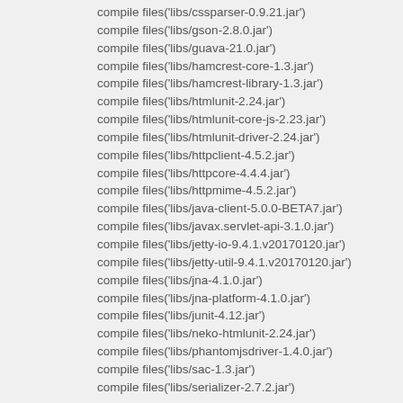compile files('libs/cssparser-0.9.21.jar')
compile files('libs/gson-2.8.0.jar')
compile files('libs/guava-21.0.jar')
compile files('libs/hamcrest-core-1.3.jar')
compile files('libs/hamcrest-library-1.3.jar')
compile files('libs/htmlunit-2.24.jar')
compile files('libs/htmlunit-core-js-2.23.jar')
compile files('libs/htmlunit-driver-2.24.jar')
compile files('libs/httpclient-4.5.2.jar')
compile files('libs/httpcore-4.4.4.jar')
compile files('libs/httpmime-4.5.2.jar')
compile files('libs/java-client-5.0.0-BETA7.jar')
compile files('libs/javax.servlet-api-3.1.0.jar')
compile files('libs/jetty-io-9.4.1.v20170120.jar')
compile files('libs/jetty-util-9.4.1.v20170120.jar')
compile files('libs/jna-4.1.0.jar')
compile files('libs/jna-platform-4.1.0.jar')
compile files('libs/junit-4.12.jar')
compile files('libs/neko-htmlunit-2.24.jar')
compile files('libs/phantomjsdriver-1.4.0.jar')
compile files('libs/sac-1.3.jar')
compile files('libs/serializer-2.7.2.jar')